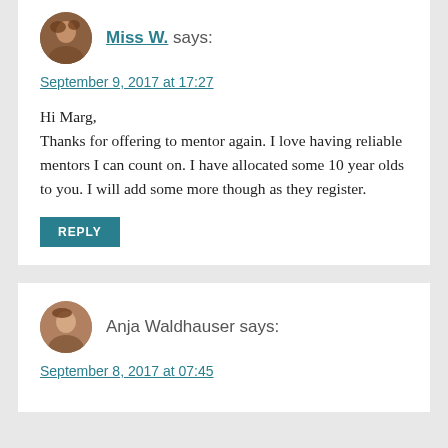Miss W. says:
September 9, 2017 at 17:27
Hi Marg,
Thanks for offering to mentor again. I love having reliable mentors I can count on. I have allocated some 10 year olds to you. I will add some more though as they register.
REPLY
Anja Waldhauser says:
September 8, 2017 at 07:45